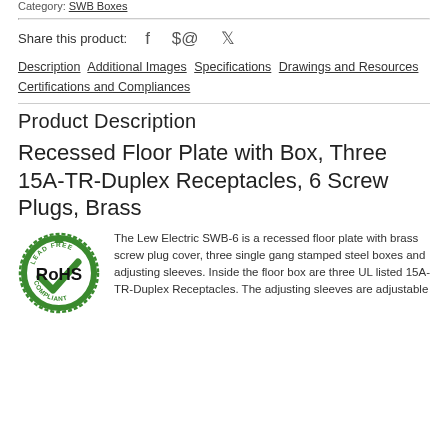Category: SWB Boxes
Share this product:
Description  Additional Images  Specifications  Drawings and Resources  Certifications and Compliances
Product Description
Recessed Floor Plate with Box, Three 15A-TR-Duplex Receptacles, 6 Screw Plugs, Brass
[Figure (logo): RoHS Lead Free Compliant logo — green circular arrow badge with bold 'RoHS' text in center]
The Lew Electric SWB-6 is a recessed floor plate with brass screw plug cover, three single gang stamped steel boxes and adjusting sleeves. Inside the floor box are three UL listed 15A-TR-Duplex Receptacles. The adjusting sleeves are adjustable